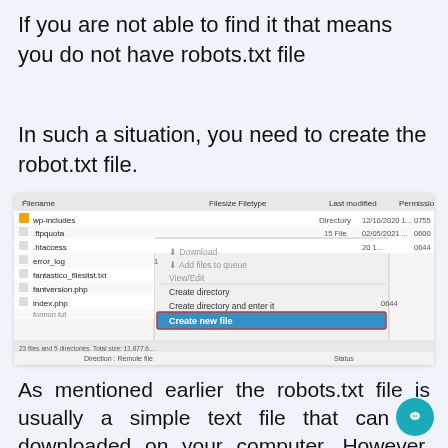If you are not able to find it that means you do not have robots.txt file
In such a situation, you need to create the robot.txt file.
[Figure (screenshot): Screenshot of an FTP file manager showing a context menu with options including Download, Add files to queue, View/Edit, Create directory, Create directory and enter it, and 'Create new file' highlighted in blue. Files listed include wp-includes, .ftpquota, .htaccess, error_log, fantastico_fileslist.txt, fantversion.php, index.php. Status bar shows 23 files and 5 directories. Total size: 11,877,... Direction: Remote file, Status.]
As mentioned earlier the robots.txt file is usually a simple text file that can be downloaded on your computer. However, you can even modify it with